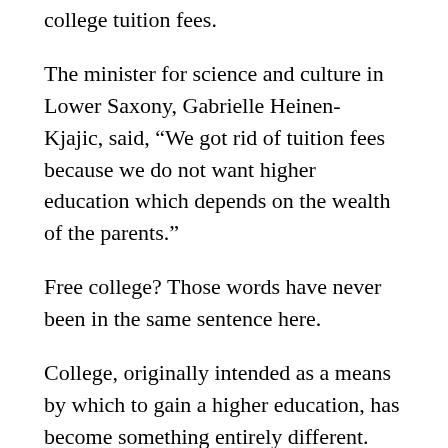college tuition fees.
The minister for science and culture in Lower Saxony, Gabrielle Heinen- Kjajic, said, “We got rid of tuition fees because we do not want higher education which depends on the wealth of the parents.”
Free college? Those words have never been in the same sentence here.
College, originally intended as a means by which to gain a higher education, has become something entirely different. Every university strives to be a high school student’s “dream college.” Advertisements include promises of breathtaking